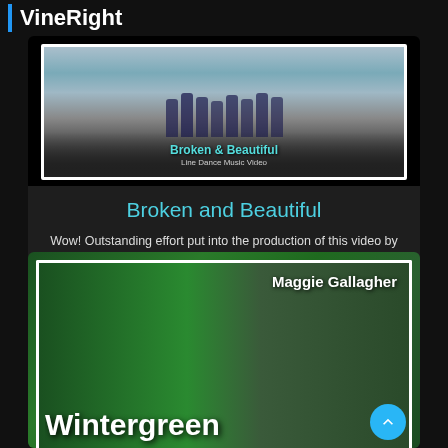VineRight
[Figure (screenshot): Video thumbnail showing line dancers with text 'Broken & Beautiful Line Dance Music Video']
Broken and Beautiful
Wow! Outstanding effort put into the production of this video by Adia Nuno. Choreographer Amy Glass Dance Title Broken and Beautiful
[Figure (screenshot): Video thumbnail showing Maggie Gallagher with shamrock decorations and partial text 'Wintergreen']